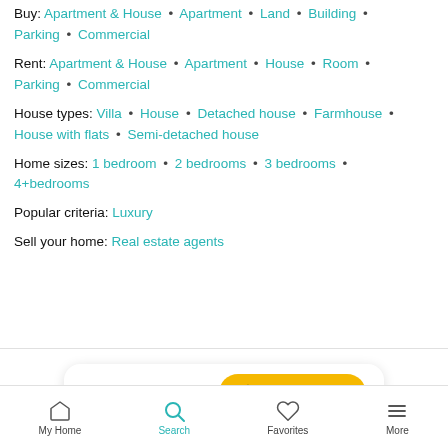Buy: Apartment & House • Apartment • Land • Building • Parking • Commercial
Rent: Apartment & House • Apartment • House • Room • Parking • Commercial
House types: Villa • House • Detached house • Farmhouse • House with flats • Semi-detached house
Home sizes: 1 bedroom • 2 bedrooms • 3 bedrooms • 4+bedrooms
Popular criteria: Luxury
Sell your home: Real estate agents
[Figure (screenshot): Save search banner with bell icon and yellow button]
My Home | Search | Favorites | More